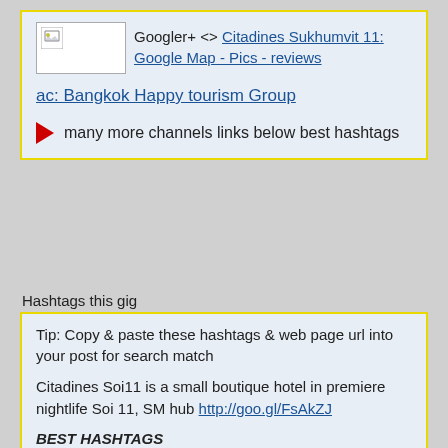[Figure (other): Email/message screenshot showing Googler+ <> link to Citadines Sukhumvit 11: Google Map - Pics - reviews, then ac: Bangkok Happy tourism Group link, then red play arrow with text 'many more channels links below best hashtags']
Googler+ <> Citadines Sukhumvit 11: Google Map - Pics - reviews
ac: Bangkok Happy tourism Group
many more channels links below best hashtags
Hashtags this gig
Tip: Copy & paste these hashtags & web page url into your post for search match
Citadines Soi11 is a small boutique hotel in premiere nightlife Soi 11, SM hub http://goo.gl/FsAkZJ
BEST HASHTAGS #CitadinesSukSoi11 #BkkAccom #BkkSukSoi11 #BtstsNana #BkkAchiever #BpacApproved #1NightBkk #EtBkkYes